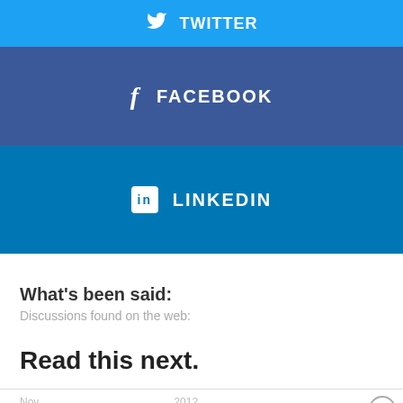[Figure (other): Twitter share button (partially visible at top), light blue background with Twitter bird icon and TWITTER text in white]
[Figure (other): Facebook share button, dark blue background with 'f' icon and FACEBOOK text in white bold]
[Figure (other): LinkedIn share button, medium blue background with LinkedIn 'in' logo icon and LINKEDIN text in white bold]
What's been said:
Discussions found on the web:
Read this next.
Nov... 2012 2016 Wh... We Do It In... confusion...
[Figure (other): Green overlay box partially obscuring bottom content, with close (X) button circle in top right]